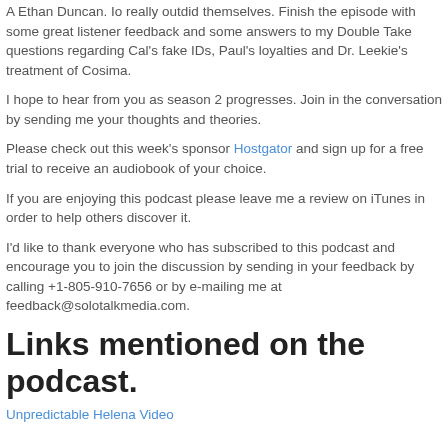...& Ethan Duncan. Io really outdid themselves. Finish the episode with some great listener feedback and some answers to my Double Take questions regarding Cal's fake IDs, Paul's loyalties and Dr. Leekie's treatment of Cosima.
I hope to hear from you as season 2 progresses. Join in the conversation by sending me your thoughts and theories.
Please check out this week's sponsor Hostgator and sign up for a free trial to receive an audiobook of your choice.
If you are enjoying this podcast please leave me a review on iTunes in order to help others discover it.
I'd like to thank everyone who has subscribed to this podcast and encourage you to join the discussion by sending in your feedback by calling +1-805-910-7656 or by e-mailing me at feedback@solotalkmedia.com.
Links mentioned on the podcast.
Unpredictable Helena Video